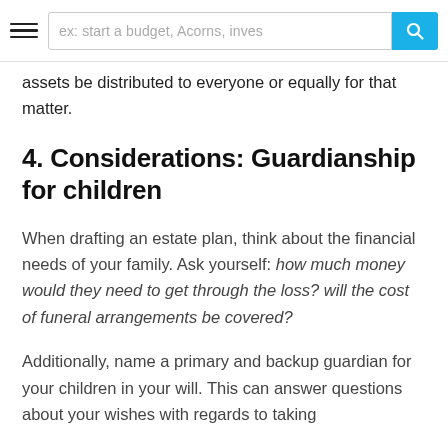ex: start a budget, Acorns, inves…
assets be distributed to everyone or equally for that matter.
4. Considerations: Guardianship for children
When drafting an estate plan, think about the financial needs of your family. Ask yourself: how much money would they need to get through the loss? will the cost of funeral arrangements be covered?
Additionally, name a primary and backup guardian for your children in your will. This can answer questions about your wishes with regards to taking